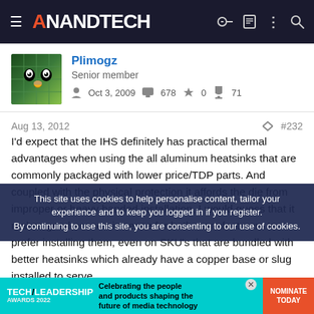AnandTech
Plimogz
Senior member
Oct 3, 2009   678   0   71
Aug 13, 2012   #232
I'd expect that the IHS definitely has practical thermal advantages when using the all aluminum heatsinks that are commonly packaged with lower price/TDP parts. And coupled with the physical protection it affords the die from improper or heavy handed installation, I would guess that it makes good economic sense for both manufacturers to prefer installing them, even on SKU's that are bundled with better heatsinks which already have a copper base or slug installed to serve
This site uses cookies to help personalise content, tailor your experience and to keep you logged in if you register.
By continuing to use this site, you are consenting to our use of cookies.
[Figure (screenshot): Tech Leadership Awards 2022 advertisement banner: Celebrating the people and products shaping the future of media technology. NOMINATE TODAY button.]